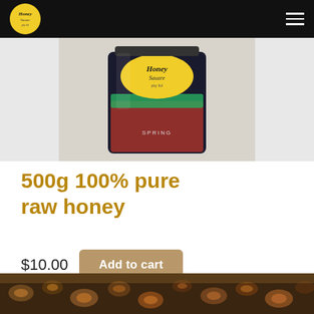[Figure (logo): Honey brand logo — circular yellow badge with 'Honey' script text on black navigation bar, with hamburger menu icon on the right]
[Figure (photo): Product photo of a dark glass jar of honey with a yellow circular 'Honey' brand label, with a green and red stripe, labeled SPRING, filled with amber honey]
500g 100% pure raw honey
$10.00  Add to cart
[Figure (photo): Bottom strip showing a close-up photo of honeybees with amber and dark tones]